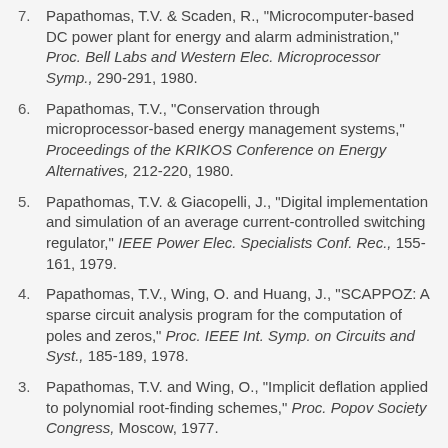7. Papathomas, T.V. & Scaden, R., "Microcomputer-based DC power plant for energy and alarm administration," Proc. Bell Labs and Western Elec. Microprocessor Symp., 290-291, 1980.
6. Papathomas, T.V., "Conservation through microprocessor-based energy management systems," Proceedings of the KRIKOS Conference on Energy Alternatives, 212-220, 1980.
5. Papathomas, T.V. & Giacopelli, J., "Digital implementation and simulation of an average current-controlled switching regulator," IEEE Power Elec. Specialists Conf. Rec., 155-161, 1979.
4. Papathomas, T.V., Wing, O. and Huang, J., "SCAPPOZ: A sparse circuit analysis program for the computation of poles and zeros," Proc. IEEE Int. Symp. on Circuits and Syst., 185-189, 1978.
3. Papathomas, T.V. and Wing, O., "Implicit deflation applied to polynomial root-finding schemes," Proc. Popov Society Congress, Moscow, 1977.
2. Papathomas, T.V. and Wing, O., "Hessenberg reduction methods for sparse circuits and systems," Proc. IEEE Int. Symp. on Circuits and Syst., 85-88, 1977.